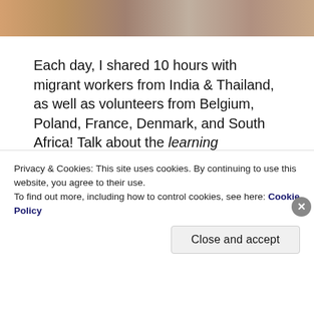[Figure (photo): Partial top photo showing people at a table with drinks and food items, cropped at top of page]
Each day, I shared 10 hours with migrant workers from India & Thailand,  as well as volunteers from Belgium, Poland, France, Denmark, and South Africa!  Talk about the learning opportunities!
[Figure (photo): Photo of palm trees and tropical vegetation]
Privacy & Cookies: This site uses cookies. By continuing to use this website, you agree to their use.
To find out more, including how to control cookies, see here: Cookie Policy
Close and accept